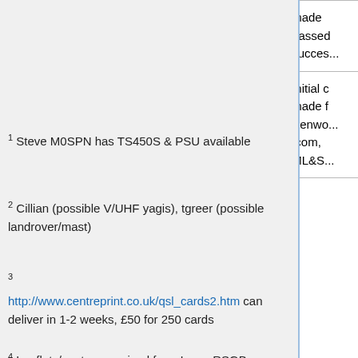|  |  |  |
| --- | --- | --- |
| TX Factor | Steve M0SPN | made
passed
succes... |
| Promo Material | Steve M0SPN | Initial c
made f
Kenwo...
Icom,
ML&S... |
1 Steve M0SPN has TS450S & PSU available
2 Cillian (possible V/UHF yagis), tgreer (possible landrover/mast)
3
http://www.centreprint.co.uk/qsl_cards2.htm can deliver in 1-2 weeks, £50 for 250 cards
4 Leaflets/posters received from Icom, RSGB.